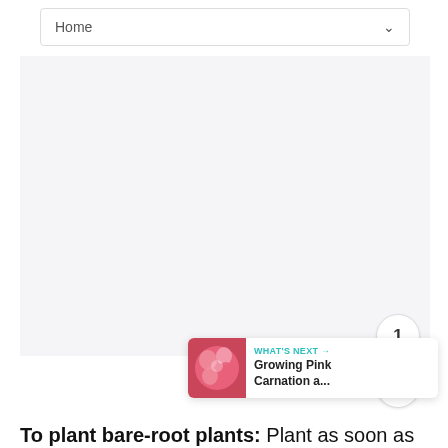Home
[Figure (photo): Large empty/placeholder image area with light purple-gray background]
[Figure (infographic): Floating action buttons: teal heart icon, count badge showing 1, share icon]
[Figure (photo): What's Next card showing pink carnation flower thumbnail with label WHAT'S NEXT and title Growing Pink Carnation a...]
To plant bare-root plants: Plant as soon as